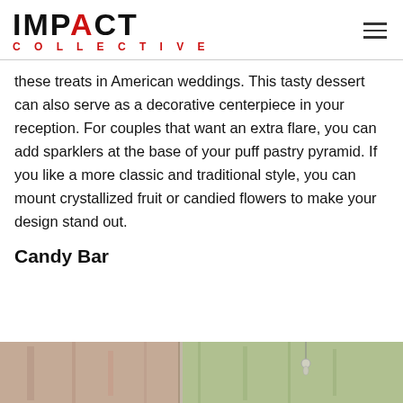IMPACT COLLECTIVE
these treats in American weddings. This tasty dessert can also serve as a decorative centerpiece in your reception. For couples that want an extra flare, you can add sparklers at the base of your puff pastry pyramid. If you like a more classic and traditional style, you can mount crystallized fruit or candied flowers to make your design stand out.
Candy Bar
[Figure (photo): Partial photo of a candy bar or wedding dessert display, cropped at bottom of page]